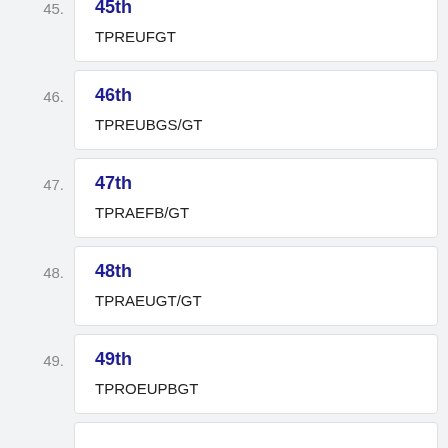45th
TPREUFGT
46th
TPREUBGS/GT
47th
TPRAEFB/GT
48th
TPRAEUGT/GT
49th
TPROEUPBGT
50th (partial)